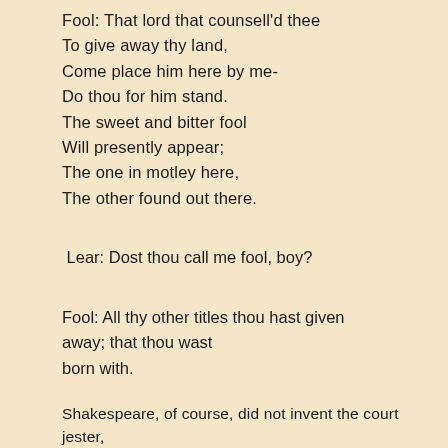Fool: That lord that counsell'd thee
To give away thy land,
Come place him here by me-
Do thou for him stand.
The sweet and bitter fool
Will presently appear;
The one in motley here,
The other found out there.
Lear: Dost thou call me fool, boy?
Fool: All thy other titles thou hast given away; that thou wast born with.
Shakespeare, of course, did not invent the court jester,